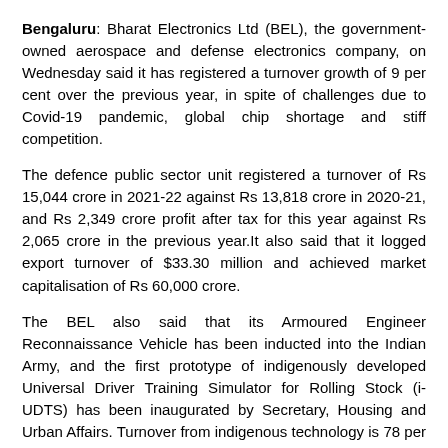Bengaluru: Bharat Electronics Ltd (BEL), the government-owned aerospace and defense electronics company, on Wednesday said it has registered a turnover growth of 9 per cent over the previous year, in spite of challenges due to Covid-19 pandemic, global chip shortage and stiff competition.
The defence public sector unit registered a turnover of Rs 15,044 crore in 2021-22 against Rs 13,818 crore in 2020-21, and Rs 2,349 crore profit after tax for this year against Rs 2,065 crore in the previous year.It also said that it logged export turnover of $33.30 million and achieved market capitalisation of Rs 60,000 crore.
The BEL also said that its Armoured Engineer Reconnaissance Vehicle has been inducted into the Indian Army, and the first prototype of indigenously developed Universal Driver Training Simulator for Rolling Stock (i-UDTS) has been inaugurated by Secretary, Housing and Urban Affairs. Turnover from indigenous technology is 78 per cent, the BEL statement said.
It also said that some of the major orders executed during the year include Long Range Surface to Air Missile, Akash Weapon System, Fire Control System, Integrated Air Command and Control System, Advanced Composite Communication System,